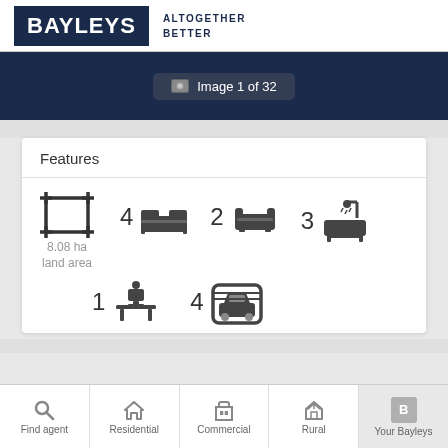[Figure (logo): Bayleys logo with navy border and tagline ALTOGETHER BETTER]
[Figure (screenshot): Dark navy image placeholder bar showing 'Image 1 of 32' badge]
Features
8.08 ha land area, 4 bedrooms, 2 lounges, 3 bathrooms, 1 office, 4 garages
[Figure (infographic): Bottom navigation bar with icons: Find agent, Residential, Commercial, Rural, Your Bayleys]